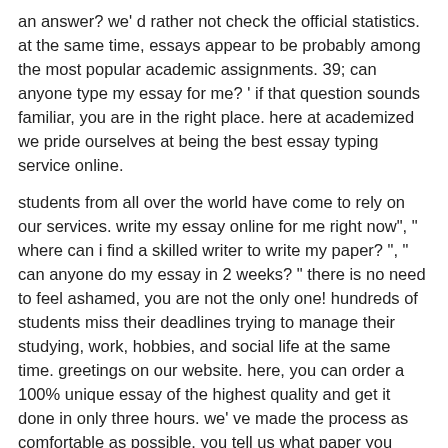an answer? we' d rather not check the official statistics. at the same time, essays appear to be probably among the most popular academic assignments. 39; can anyone type my essay for me? ' if that question sounds familiar, you are in the right place. here at academized we pride ourselves at being the best essay typing service online.
students from all over the world have come to rely on our services. write my essay online for me right now", " where can i find a skilled writer to write my paper? ", " can anyone do my essay in 2 weeks? " there is no need to feel ashamed, you are not the only one! hundreds of students miss their deadlines trying to manage their studying, work, hobbies, and social life at the same time. greetings on our website. here, you can order a 100% unique essay of the highest quality and get it done in only three hours. we' ve made the process as comfortable as possible. you tell us what paper you need, and we write it for you. college years shouldn' t be full of disappointment and. type my essay for type my essay for me me.